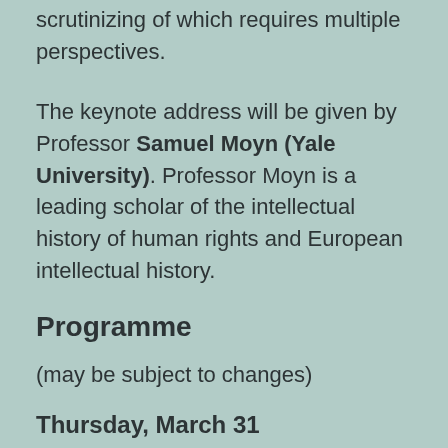scrutinizing of which requires multiple perspectives.
The keynote address will be given by Professor Samuel Moyn (Yale University). Professor Moyn is a leading scholar of the intellectual history of human rights and European intellectual history.
Programme
(may be subject to changes)
Thursday, March 31
10.45  Opening and Welcome